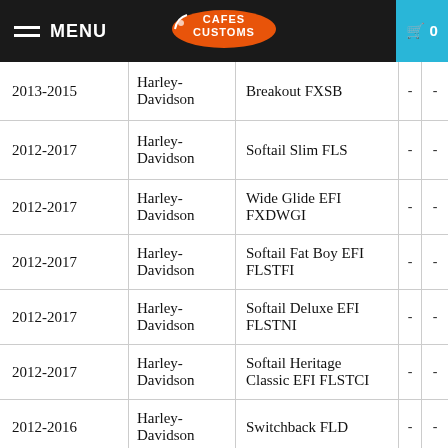MENU | Cafes Customs | 0
| Year | Make | Model |  |  |
| --- | --- | --- | --- | --- |
| 2013-2015 | Harley-Davidson | Breakout FXSB | - | - |
| 2012-2017 | Harley-Davidson | Softail Slim FLS | - | - |
| 2012-2017 | Harley-Davidson | Wide Glide EFI FXDWGI | - | - |
| 2012-2017 | Harley-Davidson | Softail Fat Boy EFI FLSTFI | - | - |
| 2012-2017 | Harley-Davidson | Softail Deluxe EFI FLSTNI | - | - |
| 2012-2017 | Harley-Davidson | Softail Heritage Classic EFI FLSTCI | - | - |
| 2012-2016 | Harley-Davidson | Switchback FLD | - | - |